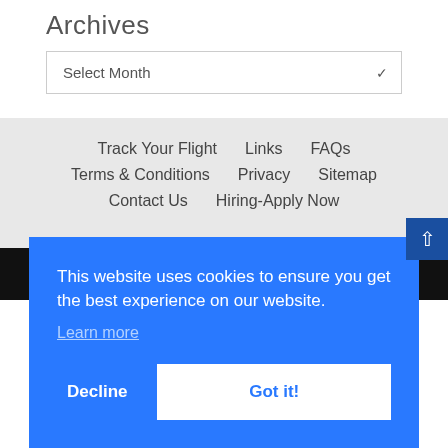Archives
Select Month
Track Your Flight
Links
FAQs
Terms & Conditions
Privacy
Sitemap
Contact Us
Hiring-Apply Now
[Figure (infographic): Social media icons: Facebook, Twitter, LinkedIn, Instagram on black background]
This website uses cookies to ensure you get the best experience on our website. Learn more
Decline
Got it!